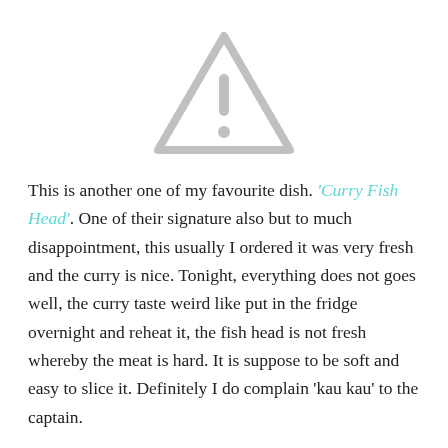[Figure (illustration): A gray warning triangle icon with an exclamation mark inside, centered at the top of the page.]
This is another one of my favourite dish. 'Curry Fish Head'. One of their signature also but to much disappointment, this usually I ordered it was very fresh and the curry is nice. Tonight, everything does not goes well, the curry taste weird like put in the fridge overnight and reheat it, the fish head is not fresh whereby the meat is hard. It is suppose to be soft and easy to slice it. Definitely I do complain 'kau kau' to the captain.
This restaurant worth to go, cuz they do have first class